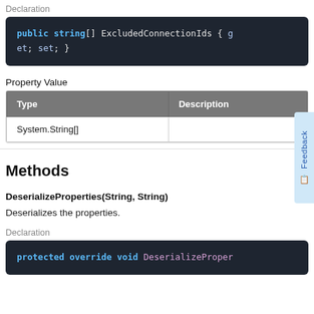Declaration
public string[] ExcludedConnectionIds { get; set; }
Property Value
| Type | Description |
| --- | --- |
| System.String[] |  |
Methods
DeserializeProperties(String, String)
Deserializes the properties.
Declaration
protected override void DeserializeProper